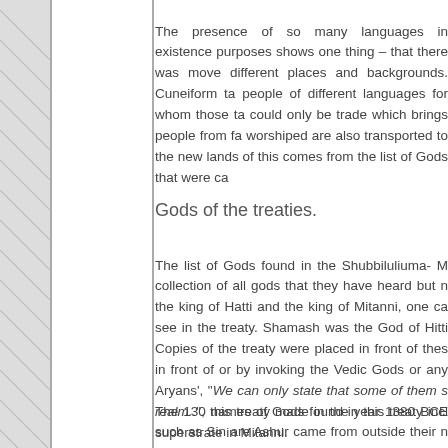The presence of so many languages in existence purposes shows one thing – that there was move different places and backgrounds. Cuneiform ta people of different languages for whom those ta could only be trade which brings people from fa worshiped are also transported to the new lands of this comes from the list of Gods that were ca
Gods of the treaties.
The list of Gods found in the Shubbiluliuma- M collection of all gods that they have heard but n the king of Hatti and the king of Mitanni, one ca see in the treaty. Shamash was the God of Hitti Copies of the treaty were placed in front of thes in front of or by invoking the Vedic Gods or any Aryans', "We can only state that some of them s realm..", this treaty made in the year 1380 BCE superstrate in Mitanni.
The 130 names of Gods found in this treaty incl such as Sin are Ashur came from outside their n as Irrites. There is a long list of Teshub Gods of Gods. There is also a group established which